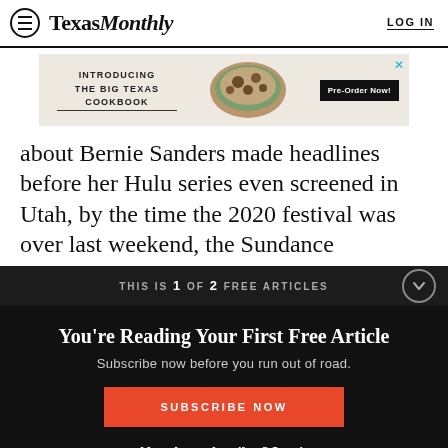Texas Monthly | LOG IN
[Figure (screenshot): Advertisement banner for 'The Big Texas Cookbook' with food image and Pre-Order Now button]
about Bernie Sanders made headlines before her Hulu series even screened in Utah, by the time the 2020 festival was over last weekend, the Sundance
THIS IS 1 OF 2 FREE ARTICLES
You're Reading Your First Free Article
Subscribe now before you run out of road.
SUBSCRIBE NOW
Already a subscriber? Log in